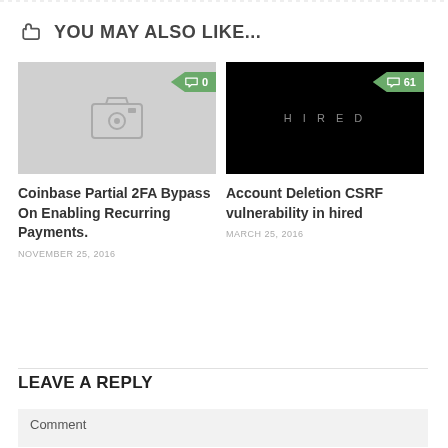YOU MAY ALSO LIKE...
[Figure (photo): Gray placeholder image with camera icon, showing 0 comments badge]
Coinbase Partial 2FA Bypass On Enabling Recurring Payments.
NOVEMBER 25, 2016
[Figure (photo): Black image with HIRED text in gray, showing 61 comments badge]
Account Deletion CSRF vulnerability in hired
MARCH 25, 2016
LEAVE A REPLY
Comment